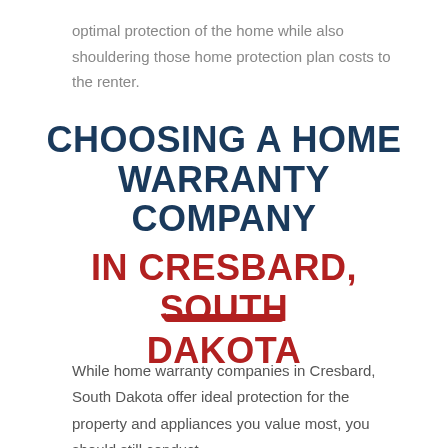optimal protection of the home while also shouldering those home protection plan costs to the renter.
CHOOSING A HOME WARRANTY COMPANY IN CRESBARD, SOUTH DAKOTA
While home warranty companies in Cresbard, South Dakota offer ideal protection for the property and appliances you value most, you should still conduct